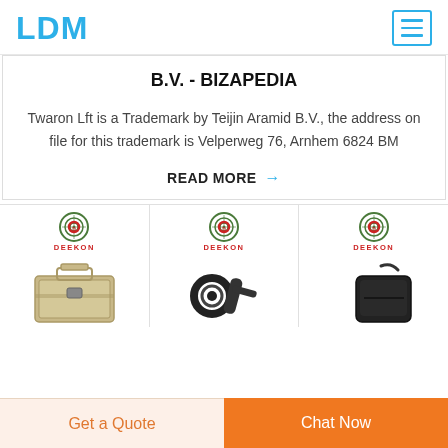LDM
B.V. - BIZAPEDIA
Twaron Lft is a Trademark by Teijin Aramid B.V., the address on file for this trademark is Velperweg 76, Arnhem 6824 BM
READ MORE →
[Figure (photo): Three product panels each showing a DEEKON logo with circular target graphic above product images: a gold/silver briefcase, black handcuffs/restraints, and a black bag/pouch.]
Get a Quote
Chat Now